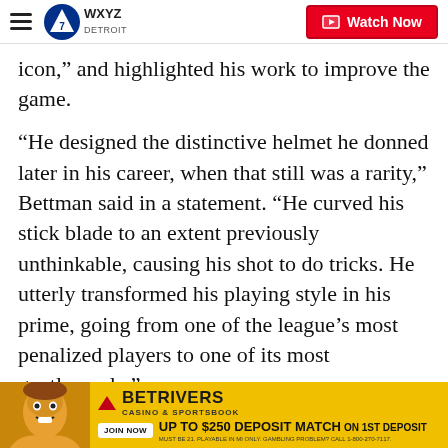WXYZ Detroit — Watch Now
icon," and highlighted his work to improve the game.
"He designed the distinctive helmet he donned later in his career, when that still was a rarity," Bettman said in a statement. "He curved his stick blade to an extent previously unthinkable, causing his shot to do tricks. He utterly transformed his playing style in his prime, going from one of the league's most penalized players to one of its most gentlemanly."
Mikita's relationship with the Blackhawks deteriorated over time, but the franchise reached out to him after longtime owner William Wirtz died in 2007 and his son, R[...] ull was a[...]
[Figure (advertisement): BetRivers Casino & Sportsbook advertisement with woman's face, Join Now button, Up to $250 Deposit Match on 1st Deposit offer]